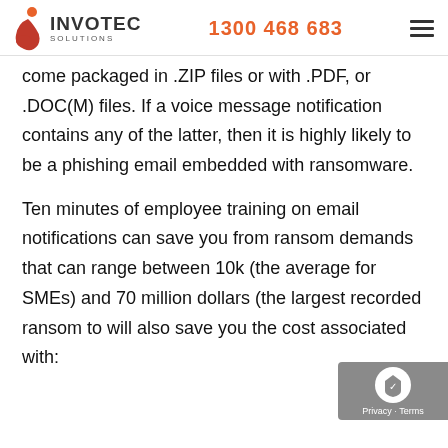INVOTEC SOLUTIONS | 1300 468 683
come packaged in .ZIP files or with .PDF, or .DOC(M) files. If a voice message notification contains any of the latter, then it is highly likely to be a phishing email embedded with ransomware.
Ten minutes of employee training on email notifications can save you from ransom demands that can range between 10k (the average for SMEs) and 70 million dollars (the largest recorded ransom to will also save you the cost associated with: